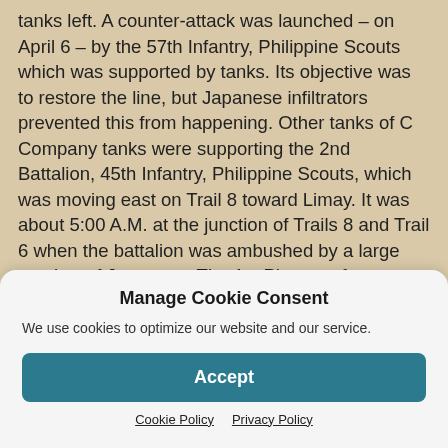tanks left. A counter-attack was launched – on April 6 – by the 57th Infantry, Philippine Scouts which was supported by tanks. Its objective was to restore the line, but Japanese infiltrators prevented this from happening. Other tanks of C Company tanks were supporting the 2nd Battalion, 45th Infantry, Philippine Scouts, which was moving east on Trail 8 toward Limay. It was about 5:00 A.M. at the junction of Trails 8 and Trail 6 when the battalion was ambushed by a large number of Japanese. The 1st Platoon of Company C was acting as part of the point when the lead tank was knocked out by anti-tank
Manage Cookie Consent
We use cookies to optimize our website and our service.
Accept
Cookie Policy   Privacy Policy